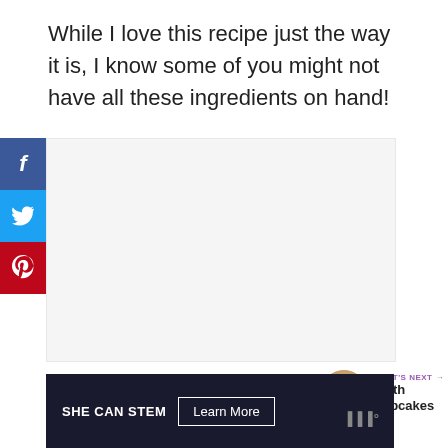While I love this recipe just the way it is, I know some of you might not have all these ingredients on hand!
[Figure (other): Social media share buttons sidebar: Facebook (blue), Twitter (light blue), Pinterest (red)]
[Figure (other): Main content image area (light gray placeholder)]
[Figure (other): Heart/like button (purple circle) with count 1.8K and share button]
1.8K
[Figure (other): What's Next panel with thumbnail and text: Sloth Cupcakes]
WHAT'S NEXT → Sloth Cupcakes
[Figure (other): Advertisement banner: SHE CAN STEM with Learn More button]